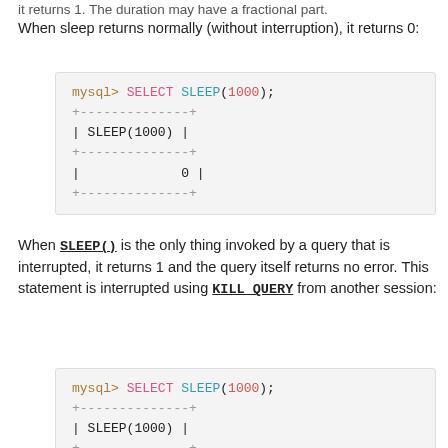When sleep returns normally (without interruption), it returns 0:
mysql> SELECT SLEEP(1000);
+--------------+
| SLEEP(1000) |
+--------------+
|            0 |
+--------------+
When SLEEP() is the only thing invoked by a query that is interrupted, it returns 1 and the query itself returns no error. This statement is interrupted using KILL QUERY from another session:
mysql> SELECT SLEEP(1000);
+--------------+
| SLEEP(1000) |
+--------------+
|            1 |